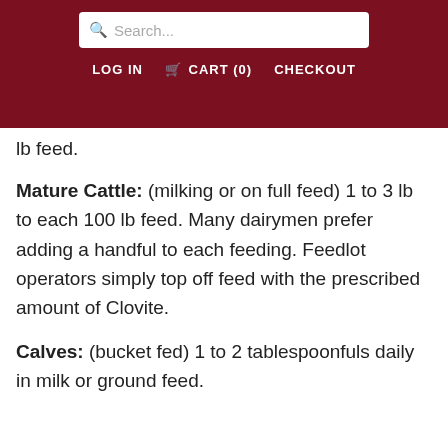Search... LOG IN CART (0) CHECKOUT
lb feed.
Mature Cattle: (milking or on full feed) 1 to 3 lb to each 100 lb feed. Many dairymen prefer adding a handful to each feeding. Feedlot operators simply top off feed with the prescribed amount of Clovite.
Calves: (bucket fed) 1 to 2 tablespoonfuls daily in milk or ground feed.